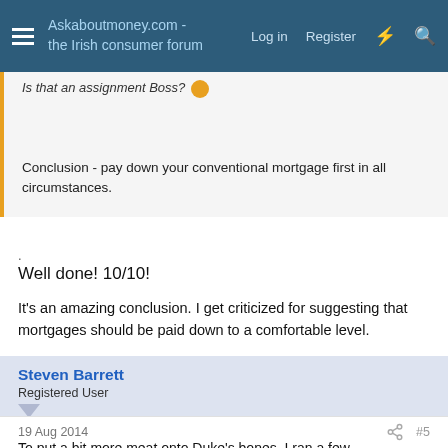Askaboutmoney.com - the Irish consumer forum | Log in | Register
Is that an assignment Boss?
Conclusion - pay down your conventional mortgage first in all circumstances.
.
Well done! 10/10!
It's an amazing conclusion. I get criticized for suggesting that mortgages should be paid down to a comfortable level.
Steven Barrett
Registered User
19 Aug 2014  #5
To put a bit more meat onto Duke's bones, I ran a few